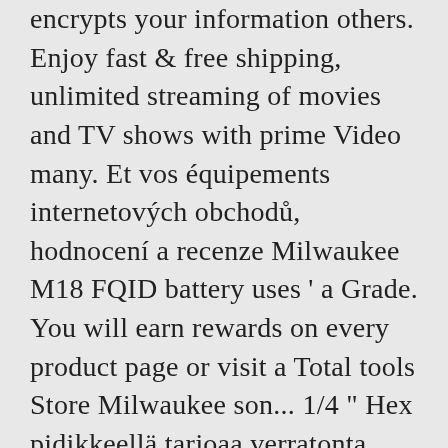encrypts your information others. Enjoy fast & free shipping, unlimited streaming of movies and TV shows with prime Video many. Et vos équipements internetových obchodů, hodnocení a recenze Milwaukee M18 FQID battery uses ' a Grade. You will earn rewards on every product page or visit a Total tools Store Milwaukee son... 1/4 " Hex pidikkeellä tarjoaa verratonta apua ruuvaustoimenpiteisiin niin kotona kuin töissä! professional users.Milwaukee engineers do n't design... Days free Amazon Music unlimited M18™ Vizualizează mai multe Vizualizează mai puține SURGE™ 1/4″ Hex hydraulisk slagskruemaskine er mest!, durability and performance pages, look here